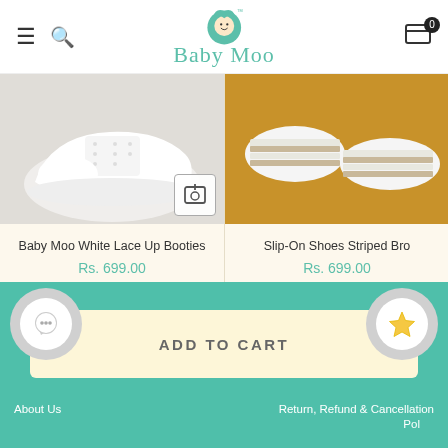[Figure (logo): Baby Moo brand logo with baby icon and teal text]
[Figure (photo): Baby Moo White Lace Up Booties product photo showing white baby sneakers]
Baby Moo White Lace Up Booties
Rs. 699.00
[Figure (photo): Slip-On Shoes Striped Brown product photo on mustard yellow background]
Slip-On Shoes Striped Bro
Rs. 699.00
ADD TO CART
About Us
Return, Refund & Cancellation Policy